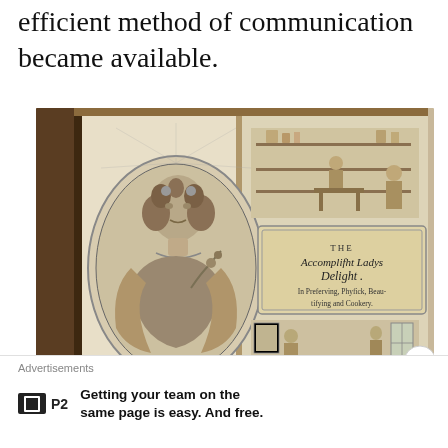efficient method of communication became available.
[Figure (photo): Open antique book showing title page of 'The Accomplisht Ladys Delight' with engraving of a woman portrait on left page and illustrated title page with domestic scenes on right page.]
Advertisements
[Figure (logo): P2 logo — black rectangle with white square outline icon, followed by bold 'P2' text]
Getting your team on the same page is easy. And free.